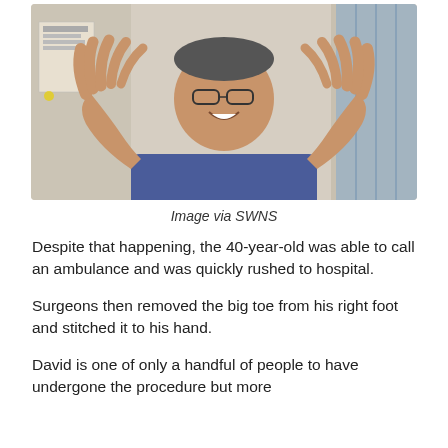[Figure (photo): Man smiling and holding up both hands showing fingers, wearing glasses and a blue shirt, in a medical/hospital setting]
Image via SWNS
Despite that happening, the 40-year-old was able to call an ambulance and was quickly rushed to hospital.
Surgeons then removed the big toe from his right foot and stitched it to his hand.
David is one of only a handful of people to have undergone the procedure but more